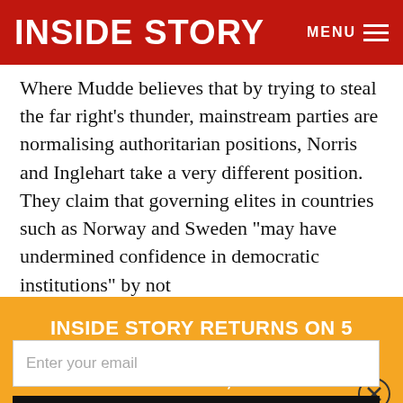INSIDE STORY   MENU
Where Mudde believes that by trying to steal the far right's thunder, mainstream parties are normalising authoritarian positions, Norris and Inglehart take a very different position. They claim that governing elites in countries such as Norway and Sweden “may have undermined confidence in democratic institutions” by not
INSIDE STORY RETURNS ON 5 SEPTEMBER. TO KEEP IN TOUCH, SIGN UP FOR OUR FREE NEWSLETTER.
refugees and asylum seekers, and that it is possible to squeeze out authoritarian-populist parties “by adopting immigration policies that are more restrictive” and using “nationalistic language”. In fact, they seem to validate the f…
Enter your email
SUBSCRIBE